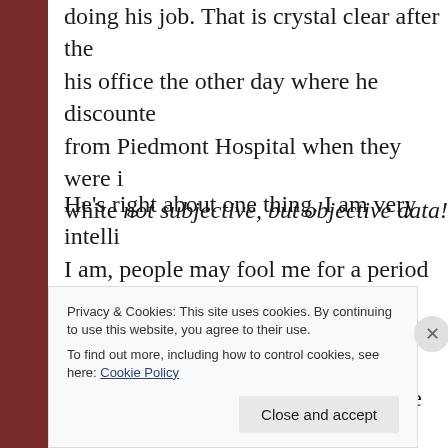doing his job. That is crystal clear after the his office the other day where he discounte from Piedmont Hospital when they were i white not subjective, but objective data!
He's right about one thing. I am very intelli I am, people may fool me for a period of ti do it forever). Eventually I will find out if th me around. All the evasiveness in the worl give them a stone to hide under.
I carry several diagnoses already documen that are incurable, chronic illnesses and co
Privacy & Cookies: This site uses cookies. By continuing to use this website, you agree to their use.
To find out more, including how to control cookies, see here: Cookie Policy